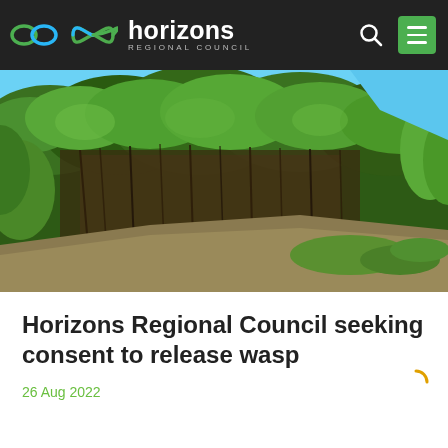horizons REGIONAL COUNCIL
[Figure (photo): Landscape photo showing dense green and brown shrubby vegetation on a hillside with a bright blue sky in the background, likely depicting willow or similar invasive plant growth along a bank.]
Horizons Regional Council seeking consent to release wasp
26 Aug 2022